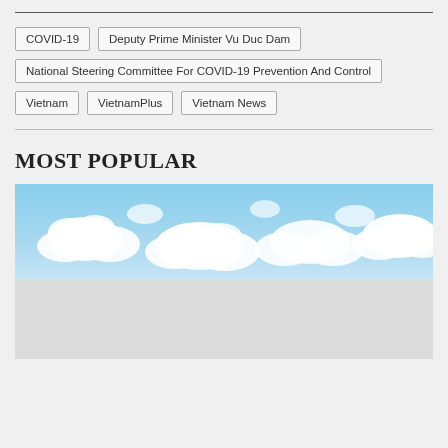COVID-19
Deputy Prime Minister Vu Duc Dam
National Steering Committee For COVID-19 Prevention And Control
Vietnam
VietnamPlus
Vietnam News
MOST POPULAR
[Figure (photo): Wide panoramic photograph of a blue sky with white clouds on top, and a grey/white lower portion (possibly a loading or placeholder area).]